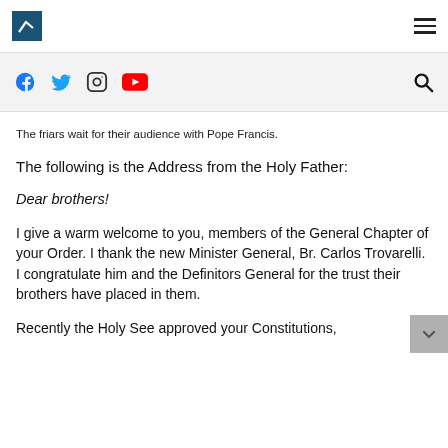Navigation bar with logo and hamburger menu
Social media icons: Facebook, Twitter, Instagram, YouTube, and search icon
The friars wait for their audience with Pope Francis.
The following is the Address from the Holy Father:
Dear brothers!
I give a warm welcome to you, members of the General Chapter of your Order. I thank the new Minister General, Br. Carlos Trovarelli. I congratulate him and the Definitors General for the trust their brothers have placed in them.
Recently the Holy See approved your Constitutions,